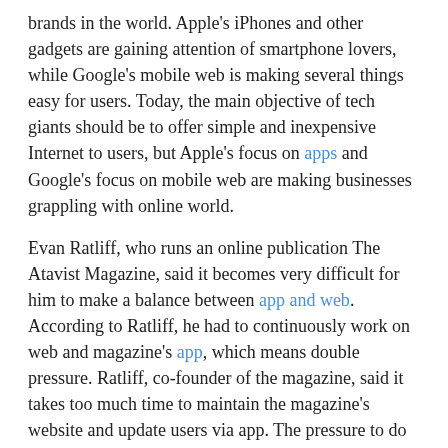brands in the world. Apple's iPhones and other gadgets are gaining attention of smartphone lovers, while Google's mobile web is making several things easy for users. Today, the main objective of tech giants should be to offer simple and inexpensive Internet to users, but Apple's focus on apps and Google's focus on mobile web are making businesses grappling with online world.
Evan Ratliff, who runs an online publication The Atavist Magazine, said it becomes very difficult for him to make a balance between app and web. According to Ratliff, he had to continuously work on web and magazine's app, which means double pressure. Ratliff, co-founder of the magazine, said it takes too much time to maintain the magazine's website and update users via app. The pressure to do everything was the reason why The Atavist Magazine decided to shut its app and focus only on the web, Ratliff added.
"The decision was difficult because The Atavist's app had a following, and it is hard to give up any audience once you have it. But in the end, the app's limitations were too great", according to Ratliff.